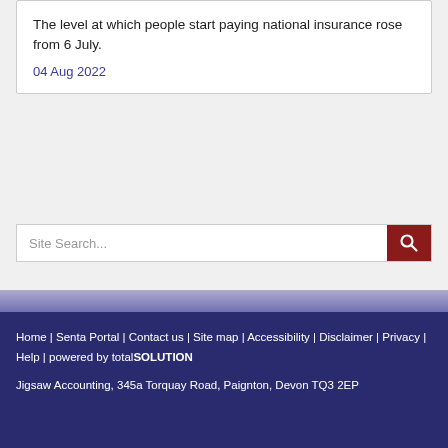The level at which people start paying national insurance rose from 6 July.
04 Aug 2022
[Figure (screenshot): Site search bar with text input placeholder 'Site Search...' and a dark red search button with magnifying glass icon]
Home | Senta Portal | Contact us | Site map | Accessibility | Disclaimer | Privacy | Help | powered by totalSOLUTION
Jigsaw Accounting, 345a Torquay Road, Paignton, Devon TQ3 2EP